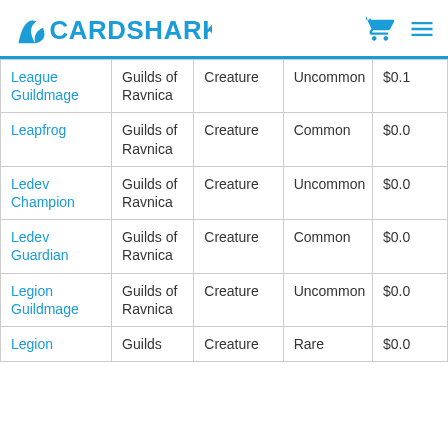CardShark
| Name | Set | Type | Rarity | Price |
| --- | --- | --- | --- | --- |
| League Guildmage | Guilds of Ravnica | Creature | Uncommon | $0.1 |
| Leapfrog | Guilds of Ravnica | Creature | Common | $0.0 |
| Ledev Champion | Guilds of Ravnica | Creature | Uncommon | $0.0 |
| Ledev Guardian | Guilds of Ravnica | Creature | Common | $0.0 |
| Legion Guildmage | Guilds of Ravnica | Creature | Uncommon | $0.0 |
| Legion | Guilds | Creature | Rare | $0.0 |